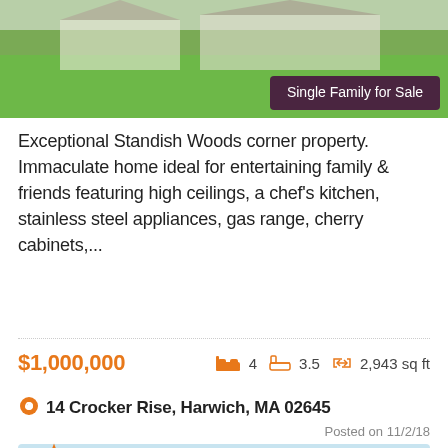[Figure (photo): Exterior photo of a single family home with green lawn, partially cropped at top. Badge overlay reads 'Single Family for Sale' in white on dark purple background.]
Exceptional Standish Woods corner property. Immaculate home ideal for entertaining family & friends featuring high ceilings, a chef's kitchen, stainless steel appliances, gas range, cherry cabinets,...
$1,000,000   4 beds  3.5 baths  2,943 sq ft
14 Crocker Rise, Harwich, MA 02645
Posted on 11/2/18
[Figure (photo): Exterior photo of a white Cape Cod style house with gray roof, multiple dormers, and blue shutters, partially cropped at bottom.]